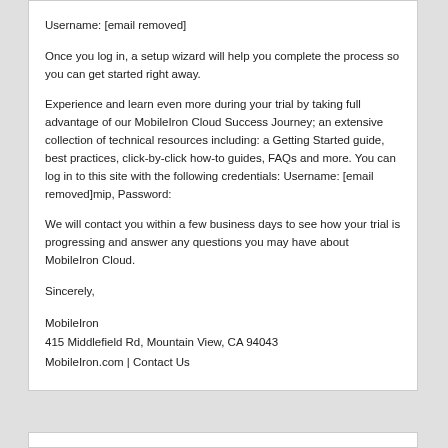Username: [email removed]
Once you log in, a setup wizard will help you complete the process so you can get started right away.
Experience and learn even more during your trial by taking full advantage of our MobileIron Cloud Success Journey; an extensive collection of technical resources including: a Getting Started guide, best practices, click-by-click how-to guides, FAQs and more. You can log in to this site with the following credentials: Username: [email removed]mip, Password:
We will contact you within a few business days to see how your trial is progressing and answer any questions you may have about MobileIron Cloud.
Sincerely,
MobileIron
415 Middlefield Rd, Mountain View, CA 94043
MobileIron.com | Contact Us